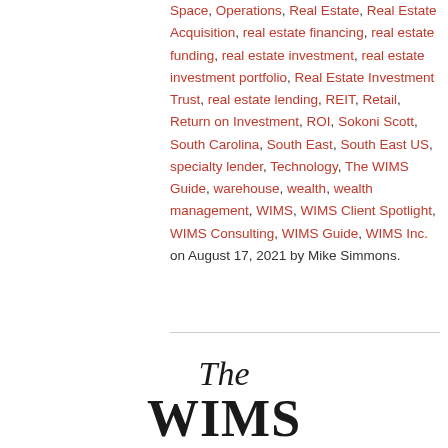Space, Operations, Real Estate, Real Estate Acquisition, real estate financing, real estate funding, real estate investment, real estate investment portfolio, Real Estate Investment Trust, real estate lending, REIT, Retail, Return on Investment, ROI, Sokoni Scott, South Carolina, South East, South East US, specialty lender, Technology, The WIMS Guide, warehouse, wealth, wealth management, WIMS, WIMS Client Spotlight, WIMS Consulting, WIMS Guide, WIMS Inc. on August 17, 2021 by Mike Simmons.
[Figure (logo): The WIMS Client logo text — italic 'The' above bold 'WIMS' above bold 'CLIENT' in large serif typeface]